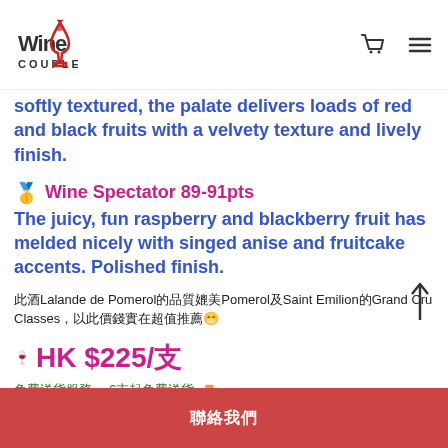Wine Couple
softly textured, the palate delivers loads of red and black fruits with a velvety texture and lively finish.
🥇 Wine Spectator 89-91pts
The juicy, fun raspberry and blackberry fruit has melded nicely with singed anise and fruitcake accents. Polished finish.
此酒Lalande de Pomerol的品質媲美Pomerol及Saint Emilion的Grand Cru Classes，以此價錢實在超值推薦😁
🍷 HK $225/支
免費送貨服務　6支起免費送貨🚚
聯絡我們